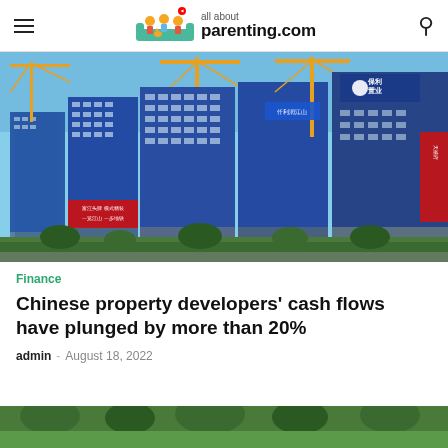all about parenting.com
[Figure (photo): Construction site in China showing multiple high-rise buildings under construction with blue scaffolding, construction cranes, and red banner signs with Chinese text]
Finance
Chinese property developers' cash flows have plunged by more than 20%
admin · August 18, 2022
[Figure (photo): Bottom portion of another image visible at the bottom of the page, showing green trees/vegetation]